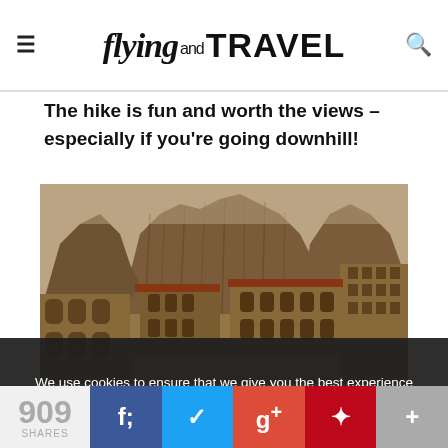flying and TRAVEL
The hike is fun and worth the views – especially if you're going downhill!
[Figure (photo): Photograph of Montserrat monastery with dramatic jagged rock formations in the background and historic stone buildings in the foreground]
We use cookies to ensure that we give you the best experience on our website. If you continue to use this site we will assume that you are happy with it.
909 SHARES  [Facebook] [Twitter] [Google+] [Pinterest] [More]